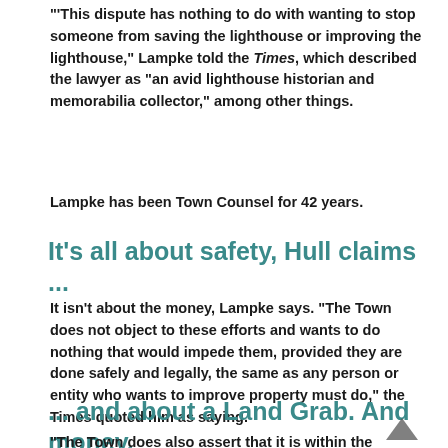"'This dispute has nothing to do with wanting to stop someone from saving the lighthouse or improving the lighthouse,' Lampke told the Times, which described the lawyer as "an avid lighthouse historian and memorabilia collector," among other things.
Lampke has been Town Counsel for 42 years.
It's all about safety, Hull claims ...
It isn't about the money, Lampke says. "The Town does not object to these efforts and wants to do nothing that would impede them, provided they are done safely and legally, the same as any person or entity who wants to improve property must do," the Times quoted him as saying.
... and about a Land Grab. And money.
"The Town does also assert that it is within the jurisdiction of Hull and thus subject to local taxation and regulatory and permitting requirements."